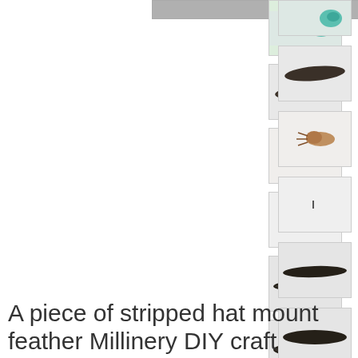[Figure (photo): Main product image (partially visible at top) - a stripped hat mount feather]
[Figure (photo): Thumbnail 1: teal/turquoise colored object on white background]
[Figure (photo): Thumbnail 2: dark feather on white background]
[Figure (photo): Thumbnail 3: small brown insect or bug on white background]
[Figure (photo): Thumbnail 4: very small dark object on white background]
[Figure (photo): Thumbnail 5: dark elongated feather on white background]
[Figure (photo): Thumbnail 6: dark elongated feather on white background]
[Figure (photo): Thumbnail 7: reddish-orange feather on white background]
[Figure (photo): Thumbnail 8: reddish-orange feather on white background]
A piece of stripped hat mount feather Millinery DIY craft